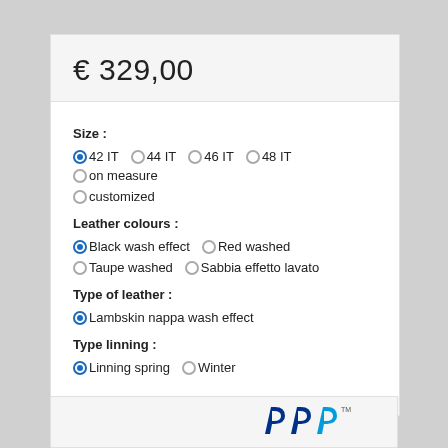€ 329,00
Size :
○42 IT  ○44 IT  ○46 IT  ○48 IT  ○on measure  ○customized
Leather colours :
●Black wash effect  ○Red washed  ○Taupe washed  ○Sabbia effetto lavato
Type of leather :
●Lambskin nappa wash effect
Type linning :
●Linning spring  ○Winter
[Figure (logo): PayPal logo letters in blue at the bottom of the page]